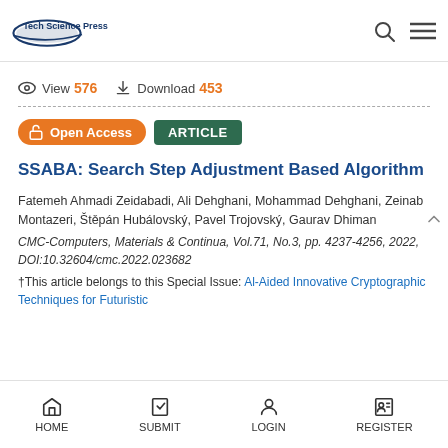Tech Science Press
View 576   Download 453
Open Access   ARTICLE
SSABA: Search Step Adjustment Based Algorithm
Fatemeh Ahmadi Zeidabadi, Ali Dehghani, Mohammad Dehghani, Zeinab Montazeri, Štěpán Hubálovský, Pavel Trojovský, Gaurav Dhiman
CMC-Computers, Materials & Continua, Vol.71, No.3, pp. 4237-4256, 2022, DOI:10.32604/cmc.2022.023682
†This article belongs to this Special Issue: Al-Aided Innovative Cryptographic Techniques for Futuristic
HOME   SUBMIT   LOGIN   REGISTER